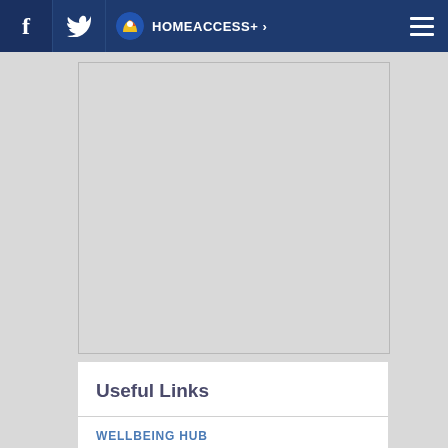f  HOMEACCESS+ >
[Figure (other): Gray placeholder content area with border]
Useful Links
WELLBEING HUB
STAFF HUB